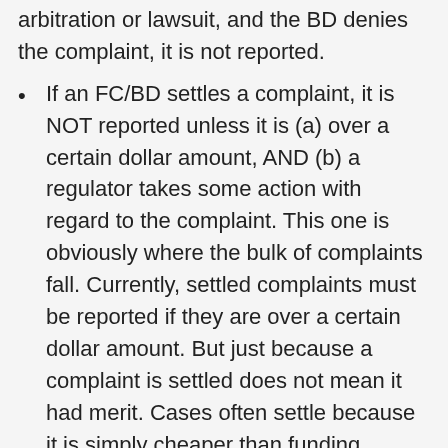arbitration or lawsuit, and the BD denies the complaint, it is not reported.
If an FC/BD settles a complaint, it is NOT reported unless it is (a) over a certain dollar amount, AND (b) a regulator takes some action with regard to the complaint. This one is obviously where the bulk of complaints fall. Currently, settled complaints must be reported if they are over a certain dollar amount. But just because a complaint is settled does not mean it had merit. Cases often settle because it is simply cheaper than funding litigation. Settlement by itself shouldn't warrant a disclosure. Instead, maybe a settled complaint should only be reported if a regulator takes some formal action. FCs/BDs often receive